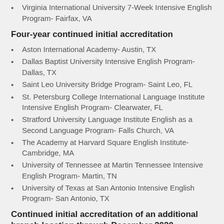Virginia International University 7-Week Intensive English Program- Fairfax, VA
Four-year continued initial accreditation
Aston International Academy- Austin, TX
Dallas Baptist University Intensive English Program- Dallas, TX
Saint Leo University Bridge Program- Saint Leo, FL
St. Petersburg College International Language Institute Intensive English Program- Clearwater, FL
Stratford University Language Institute English as a Second Language Program- Falls Church, VA
The Academy at Harvard Square English Institute- Cambridge, MA
University of Tennessee at Martin Tennessee Intensive English Program- Martin, TN
University of Texas at San Antonio Intensive English Program- San Antonio, TX
Continued initial accreditation of an additional branch location through December 2020
Harvest English Institute Orlando- Orlando, FL
International Education Center at Orange Coast